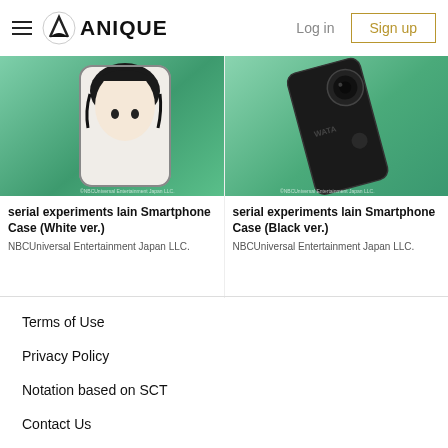Anique — Log in | Sign up
[Figure (photo): Smartphone case with white/anime art design on green background — serial experiments lain]
serial experiments lain Smartphone Case (White ver.)
NBCUniversal Entertainment Japan LLC.
[Figure (photo): Black smartphone case on green background — serial experiments lain]
serial experiments lain Smartphone Case (Black ver.)
NBCUniversal Entertainment Japan LLC.
Terms of Use
Privacy Policy
Notation based on SCT
Contact Us
Company
Recruit